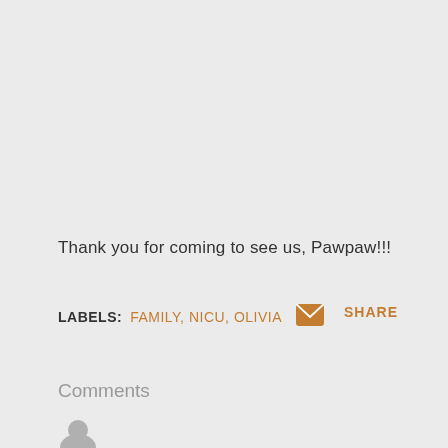Thank you for coming to see us, Pawpaw!!!
LABELS: FAMILY, NICU, OLIVIA [email icon] SHARE
Comments